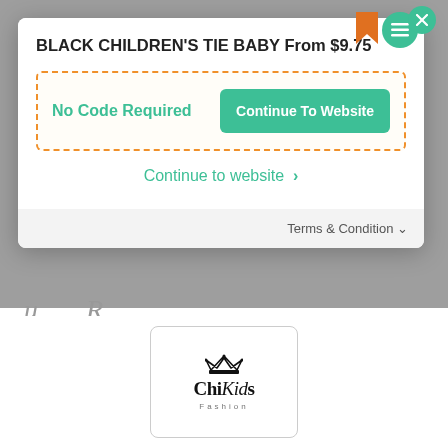BLACK CHILDREN'S TIE BABY From $9.75
No Code Required
Continue To Website
Continue to website ›
Terms & Condition ∨
[Figure (logo): ChiKids Fashion logo with crown icon in a rounded rectangle box]
Get a Glimpse of What We Have to Offer Today
Email Address